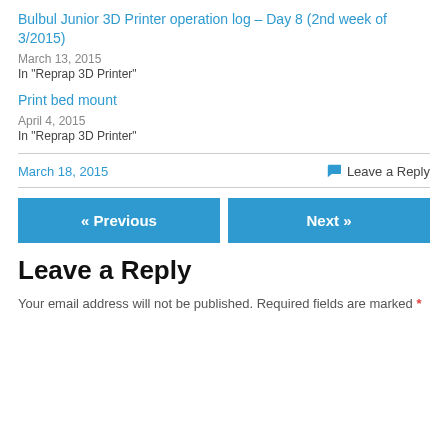Bulbul Junior 3D Printer operation log – Day 8 (2nd week of 3/2015)
March 13, 2015
In "Reprap 3D Printer"
Print bed mount
April 4, 2015
In "Reprap 3D Printer"
March 18, 2015
Leave a Reply
« Previous
Next »
Leave a Reply
Your email address will not be published. Required fields are marked *